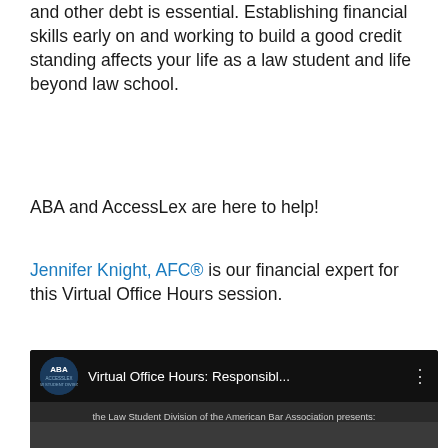and other debt is essential. Establishing financial skills early on and working to build a good credit standing affects your life as a law student and life beyond law school.
ABA and AccessLex are here to help!
Jennifer Knight, AFC® is our financial expert for this Virtual Office Hours session.
[Figure (screenshot): YouTube video thumbnail showing 'Virtual Office Hours: Responsibl...' with ABA Law Student Division logo, subtitle 'the Law Student Division of the American Bar Association presents:', and an animated scene with figures and a play button]